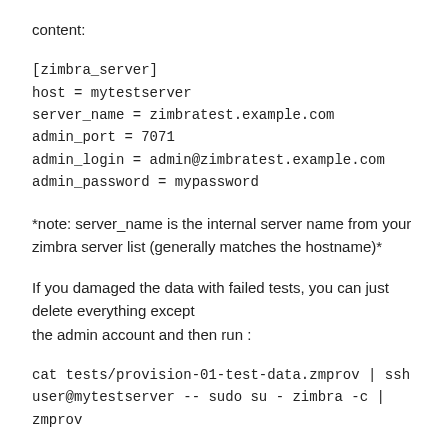content:
[zimbra_server]
host = mytestserver
server_name = zimbratest.example.com
admin_port = 7071
admin_login = admin@zimbratest.example.com
admin_password = mypassword
*note: server_name is the internal server name from your zimbra server list (generally matches the hostname)*
If you damaged the data with failed tests, you can just delete everything except
the admin account and then run :
cat tests/provision-01-test-data.zmprov | ssh
user@mytestserver -- sudo su - zimbra -c | zmprov
### Testing ###